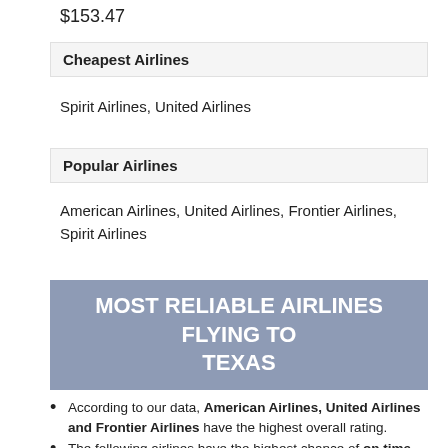$153.47
Cheapest Airlines
Spirit Airlines, United Airlines
Popular Airlines
American Airlines, United Airlines, Frontier Airlines, Spirit Airlines
MOST RELIABLE AIRLINES FLYING TO TEXAS
According to our data, American Airlines, United Airlines and Frontier Airlines have the highest overall rating.
The following airlines have the highest chance of on time arrivals: Spirit Airlines, American Airlines and United Airlines.
If legroom is important for you then you should consider